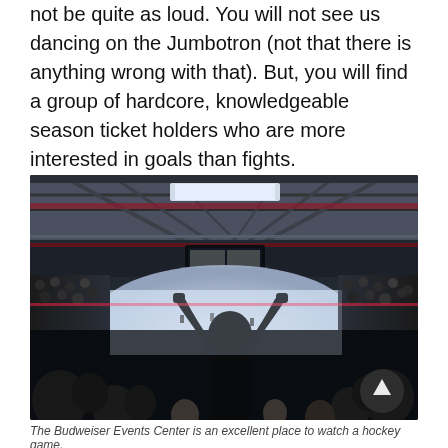not be quite as loud. You will not see us dancing on the Jumbotron (not that there is anything wrong with that). But, you will find a group of hardcore, knowledgeable season ticket holders who are more interested in goals than fights.
[Figure (photo): Wide-angle interior photo of a packed hockey arena (Budweiser Events Center). The perspective is from the stands looking toward the ice. A silhouetted figure in the foreground has both arms raised in celebration. The arena is full of spectators, the ice surface is visible and brightly lit, and the arena ceiling structure with lights is visible above.]
The Budweiser Events Center is an excellent place to watch a hockey game.